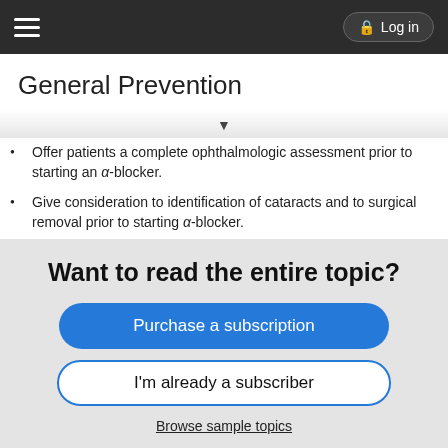Log in
General Prevention
Offer patients a complete ophthalmologic assessment prior to starting an α-blocker.
Give consideration to identification of cataracts and to surgical removal prior to starting α-blocker.
Suspend use of α-blockers prior to surgery.
Such discontinuation is not always effective, as any prior use of tamsulosin can still predispose those patients to IFIS (3).
Discontinuing α-blockers can also cause urinary retention, which may be exacerbated during surgery (3).
Use of preoperative atropine is controversial because evidence is
Want to read the entire topic?
Purchase a subscription
I'm already a subscriber
Browse sample topics